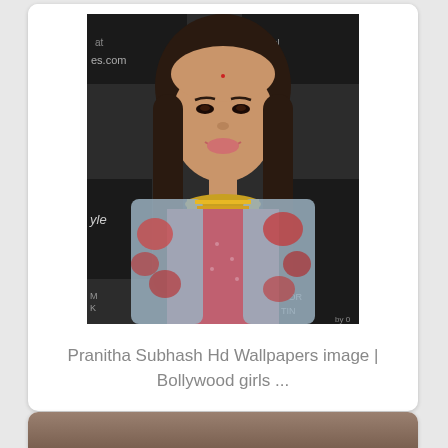[Figure (photo): A young Indian woman (Pranitha Subhash) smiling, wearing a pink kurti with gold embroidery and a floral jacket/dupatta. She has long dark hair, earrings, and a bindi. The background shows Lifestyle store signage.]
Pranitha Subhash Hd Wallpapers image | Bollywood girls ...
[Figure (photo): Partial view of another photo card beginning at the bottom of the page.]